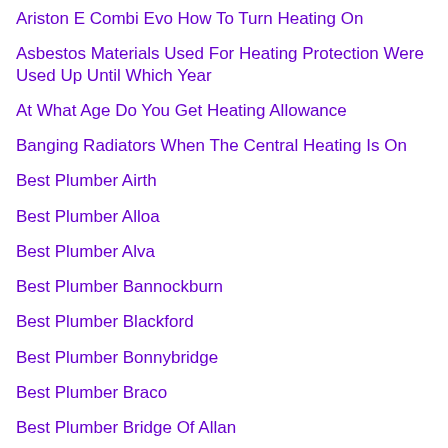Ariston E Combi Evo How To Turn Heating On
Asbestos Materials Used For Heating Protection Were Used Up Until Which Year
At What Age Do You Get Heating Allowance
Banging Radiators When The Central Heating Is On
Best Plumber Airth
Best Plumber Alloa
Best Plumber Alva
Best Plumber Bannockburn
Best Plumber Blackford
Best Plumber Bonnybridge
Best Plumber Braco
Best Plumber Bridge Of Allan